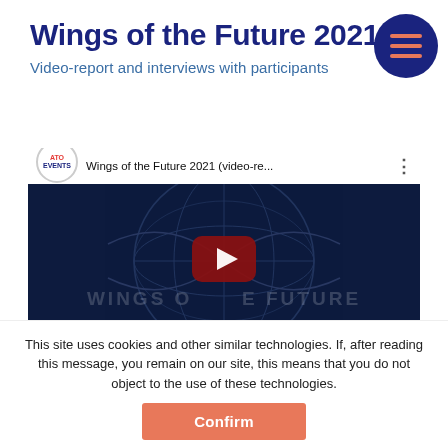Wings of the Future 2021
Video-report and interviews with participants
[Figure (screenshot): YouTube video embed thumbnail showing 'Wings of the Future 2021 (video-re...' with ATO Events channel logo, dark navy background with globe graphic, play button, and 'WINGS OF THE FUTURE' text overlay]
This site uses cookies and other similar technologies. If, after reading this message, you remain on our site, this means that you do not object to the use of these technologies.
Confirm